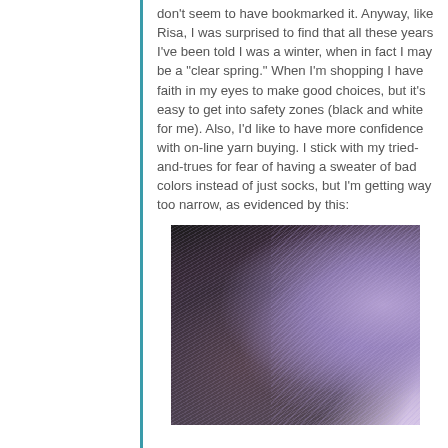don't seem to have bookmarked it. Anyway, like Risa, I was surprised to find that all these years I've been told I was a winter, when in fact I may be a "clear spring." When I'm shopping I have faith in my eyes to make good choices, but it's easy to get into safety zones (black and white for me). Also, I'd like to have more confidence with on-line yarn buying. I stick with my tried-and-trues for fear of having a sweater of bad colors instead of just socks, but I'm getting way too narrow, as evidenced by this:
[Figure (photo): A skein of purple/lavender variegated yarn photographed against a stone/concrete background. The yarn appears wound in a large hank with visible individual strands in shades of purple, lavender, and white.]